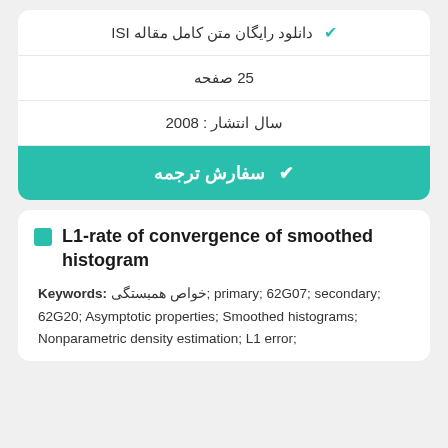✓ دانلود رایگان متن کامل مقاله ISI
25 صفحه
سال انتشار : 2008
✓ سفارش ترجمه
L1-rate of convergence of smoothed histogram
Keywords: خواص همبستگی; primary; 62G07; secondary; 62G20; Asymptotic properties; Smoothed histograms; Nonparametric density estimation; L1 error;